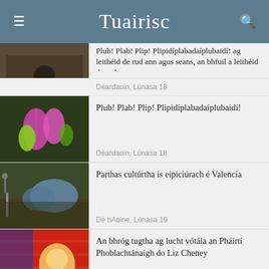Tuairisc
Plub! Plab! Plip! Plipidíplabadaíplubaidí!
Déardaoin, Lúnasa 18
Parthas cultúrtha is eipiciúrach é Valencia
Dé hAoine, Lúnasa 19
An bhróg tugtha ag lucht vótála an Pháirtí Phoblachtánaigh do Liz Cheney
Déardaoin, Lúnasa 18
Beirt as gach triúr ó dheas ar son breis maoinithe do sheirbhísí óige trí...